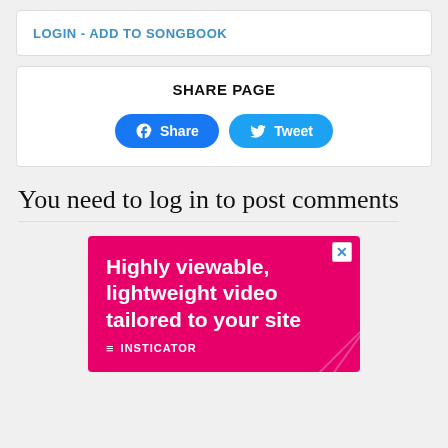LOGIN - ADD TO SONGBOOK
SHARE PAGE
Share | Tweet
You need to log in to post comments
[Figure (infographic): Advertisement banner with pink/magenta background. Text reads 'Highly viewable, lightweight video tailored to your site' with INSTICATOR branding at bottom.]